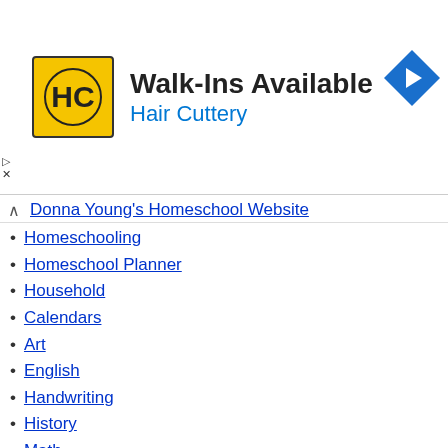[Figure (illustration): Hair Cuttery advertisement banner with HC logo, 'Walk-Ins Available' headline, 'Hair Cuttery' subheading in blue, and a blue direction arrow icon on the right]
Donna Young's Homeschool Website
Homeschooling
Homeschool Planner
Household
Calendars
Art
English
Handwriting
History
Math
Science
What's New
Site Index
HS Planner Index
Art Index
English Index
All Calendar Index
Blog blog
internet RSS Feed